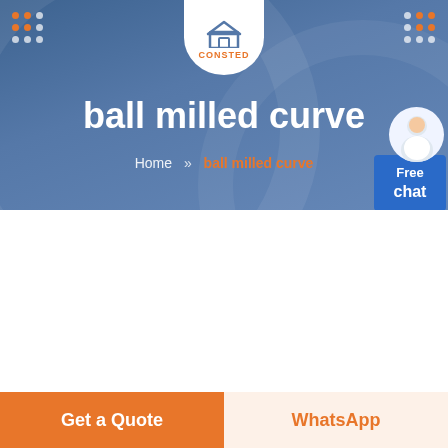CONSTED
ball milled curve
Home » ball milled curve
[Figure (photo): Industrial factory floor with heavy machinery, ball mills and equipment in a large manufacturing facility]
Get a Quote
WhatsApp